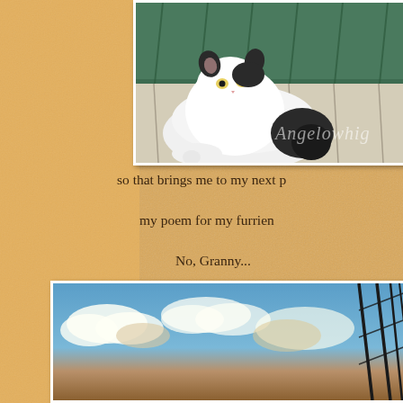[Figure (photo): Black and white cat lying on a striped green and beige couch/cushion, looking at camera. Watermark text 'Angelowhig' visible in cursive on the right side of the photo.]
so that brings me to my next p
my poem for my furrien
No, Granny...
You don't have to help me with
I can do it by heart...
[Figure (photo): Sky with white fluffy clouds and what appears to be part of a dark structure (possibly a roller coaster or cables) on the right side.]